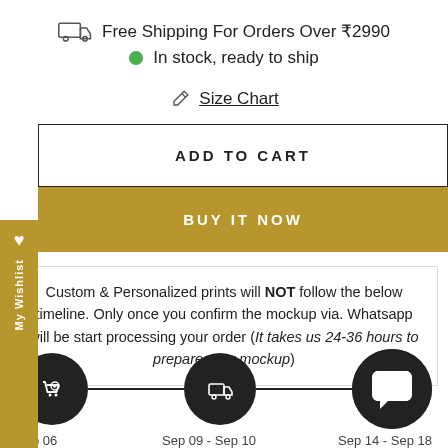Free Shipping For Orders Over ₹2990
In stock, ready to ship
Size Chart
ADD TO CART
BUY IT NOW
Custom & Personalized prints will NOT follow the below timeline. Only once you confirm the mockup via. Whatsapp will be start processing your order (It takes us 24-36 hours to prepare your mockup)
[Figure (infographic): Timeline with three black circular icons: shopping cart with checkmark, delivery truck, and speech bubble. Below: Sep 06 | Sep 09 - Sep 10 | Sep 14 - Sep 18]